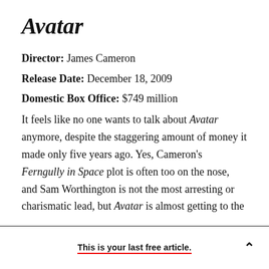Avatar
Director: James Cameron
Release Date: December 18, 2009
Domestic Box Office: $749 million
It feels like no one wants to talk about Avatar anymore, despite the staggering amount of money it made only five years ago. Yes, Cameron's Ferngully in Space plot is often too on the nose, and Sam Worthington is not the most arresting or charismatic lead, but Avatar is almost getting to the
This is your last free article.